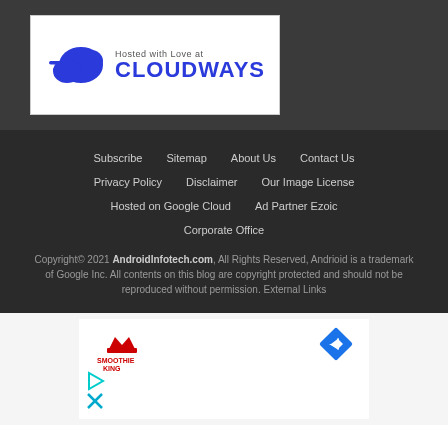[Figure (logo): Cloudways hosting banner with cloud icon and text 'Hosted with Love at CLOUDWAYS' on white background]
Subscribe
Sitemap
About Us
Contact Us
Privacy Policy
Disclaimer
Our Image License
Hosted on Google Cloud
Ad Partner Ezoic
Corporate Office
Copyright© 2021 AndroidInfotech.com, All Rights Reserved, Andrioid is a trademark of Google Inc. All contents on this blog are copyright protected and should not be reproduced without permission. External Links
[Figure (screenshot): Advertisement area with Smoothie King logo, navigation arrow icon, play button icon, and X icon on white/grey background]